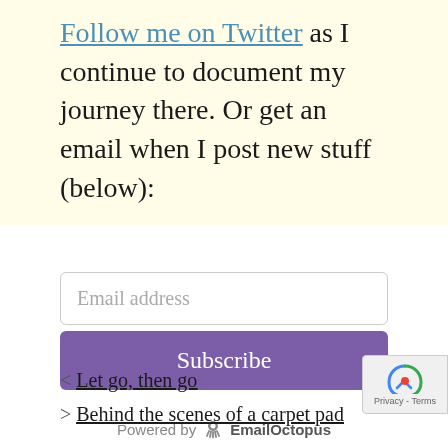Follow me on Twitter as I continue to document my journey there. Or get an email when I post new stuff (below):
[Figure (screenshot): Email subscription form with an email address input field and a purple Subscribe button, followed by 'Powered by EmailOctopus' branding]
< Let go, then go
> Behind the scenes of a carpet pad